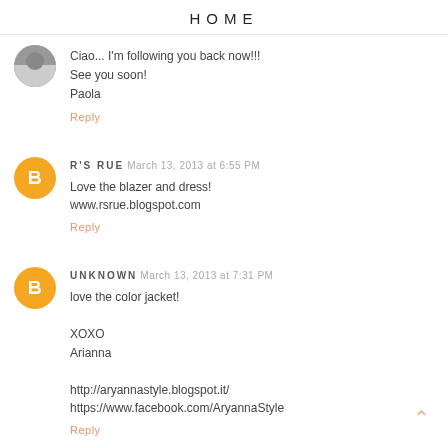HOME
Ciao... I'm following you back now!!!
See you soon!
Paola
Reply
R'S RUE March 13, 2013 at 6:55 PM
Love the blazer and dress!
www.rsrue.blogspot.com
Reply
UNKNOWN March 13, 2013 at 7:31 PM
love the color jacket!

XOXO
Arianna

http://aryannastyle.blogspot.it/
https://www.facebook.com/AryannaStyle
Reply